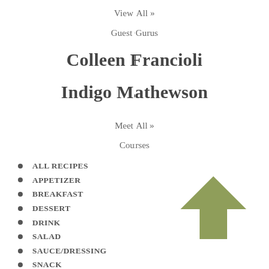View All »
Guest Gurus
Colleen Francioli
Indigo Mathewson
Meet All »
Courses
ALL RECIPES
APPETIZER
BREAKFAST
DESSERT
DRINK
SALAD
SAUCE/DRESSING
SNACK
SOUP
[Figure (illustration): Upward-pointing arrow icon in olive/khaki green color]